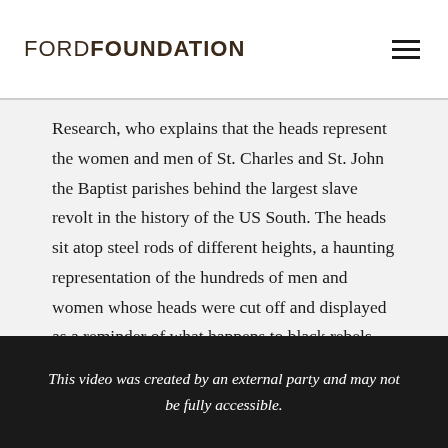FORD FOUNDATION
Research, who explains that the heads represent the women and men of St. Charles and St. John the Baptist parishes behind the largest slave revolt in the history of the US South. The heads sit atop steel rods of different heights, a haunting representation of the hundreds of men and women whose heads were cut off and displayed as a reminder of what happens to black rebels. Hunt is visibly moved.
This video was created by an external party and may not be fully accessible.